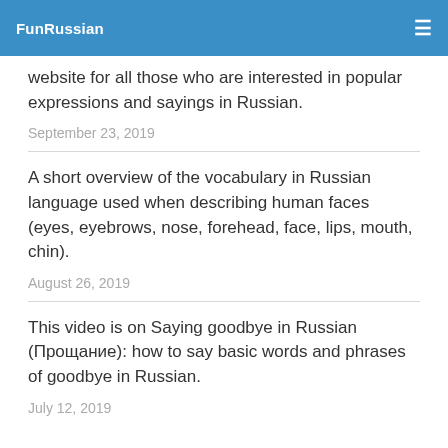FunRussian
website for all those who are interested in popular expressions and sayings in Russian.
September 23, 2019
A short overview of the vocabulary in Russian language used when describing human faces (eyes, eyebrows, nose, forehead, face, lips, mouth, chin).
August 26, 2019
This video is on Saying goodbye in Russian (Прощание): how to say basic words and phrases of goodbye in Russian.
July 12, 2019